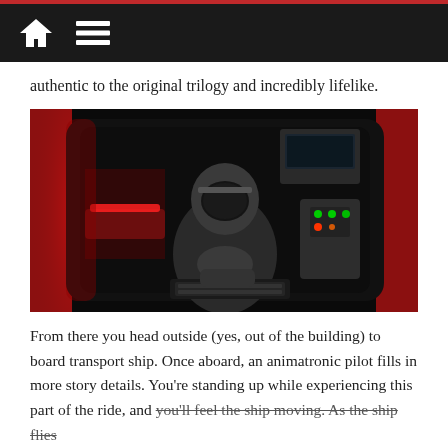[Home icon] [Menu icon]
authentic to the original trilogy and incredibly lifelike.
[Figure (photo): An animatronic pilot figure in a dark cockpit environment with red-lit interior of a spacecraft, control panels with green and red indicator lights visible in background.]
From there you head outside (yes, out of the building) to board transport ship. Once aboard, an animatronic pilot fills in more story details. You’re standing up while experiencing this part of the ride, and you’ll feel the ship moving. As the ship flies through space, crystal-clear, high-definition screens show stars floating past, and camera video of the Resistance fighter pilots